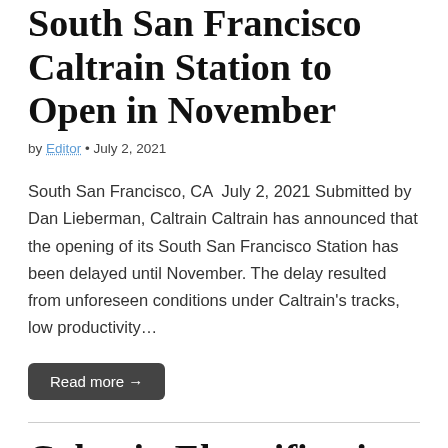South San Francisco Caltrain Station to Open in November
by Editor • July 2, 2021
South San Francisco, CA  July 2, 2021 Submitted by Dan Lieberman, Caltrain Caltrain has announced that the opening of its South San Francisco Station has been delayed until November. The delay resulted from unforeseen conditions under Caltrain's tracks, low productivity…
Read more →
Caltrain Electrification